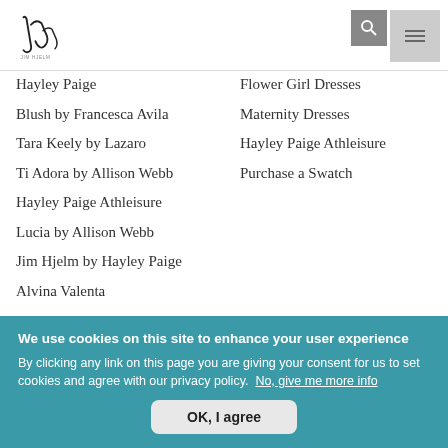Jim Hjelm logo, search icon, menu icon
Hayley Paige
Blush by Francesca Avila
Tara Keely by Lazaro
Ti Adora by Allison Webb
Hayley Paige Athleisure
Lucia by Allison Webb
Jim Hjelm by Hayley Paige
Alvina Valenta
Flower Girl Dresses
Maternity Dresses
Hayley Paige Athleisure
Purchase a Swatch
ABOUT
WHERE TO BUY
We use cookies on this site to enhance your user experience By clicking any link on this page you are giving your consent for us to set cookies and agree with our privacy policy. No, give me more info
OK, I agree